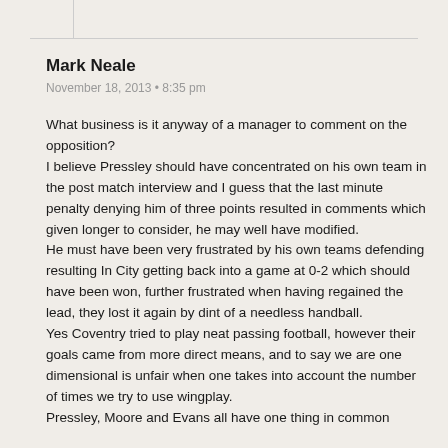Mark Neale
November 18, 2013 • 8:35 pm
What business is it anyway of a manager to comment on the opposition?
I believe Pressley should have concentrated on his own team in the post match interview and I guess that the last minute penalty denying him of three points resulted in comments which given longer to consider, he may well have modified.
He must have been very frustrated by his own teams defending resulting In City getting back into a game at 0-2 which should have been won, further frustrated when having regained the lead, they lost it again by dint of a needless handball.
Yes Coventry tried to play neat passing football, however their goals came from more direct means, and to say we are one dimensional is unfair when one takes into account the number of times we try to use wingplay.
Pressley, Moore and Evans all have one thing in common